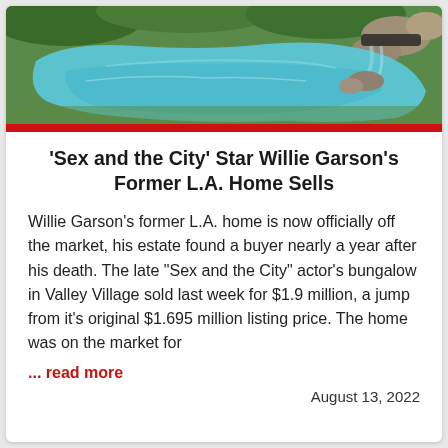[Figure (photo): Aerial or close-up photo of a freeform swimming pool with blue-green water, surrounded by greenery/rocks and a waterfall feature]
‘Sex and the City’ Star Willie Garson’s Former L.A. Home Sells
Willie Garson’s former L.A. home is now officially off the market, his estate found a buyer nearly a year after his death. The late “Sex and the City” actor’s bungalow in Valley Village sold last week for $1.9 million, a jump from it’s original $1.695 million listing price. The home was on the market for
... read more
August 13, 2022